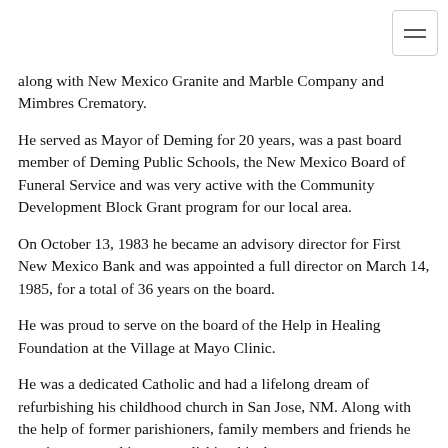along with New Mexico Granite and Marble Company and Mimbres Crematory.
He served as Mayor of Deming for 20 years, was a past board member of Deming Public Schools, the New Mexico Board of Funeral Service and was very active with the Community Development Block Grant program for our local area.
On October 13, 1983 he became an advisory director for First New Mexico Bank and was appointed a full director on March 14, 1985, for a total of 36 years on the board.
He was proud to serve on the board of the Help in Healing Foundation at the Village at Mayo Clinic.
He was a dedicated Catholic and had a lifelong dream of refurbishing his childhood church in San Jose, NM. Along with the help of former parishioners, family members and friends he was instrumental in accomplishing his dream.
He is survived by his brother, Fernando "Buddy" Baca of